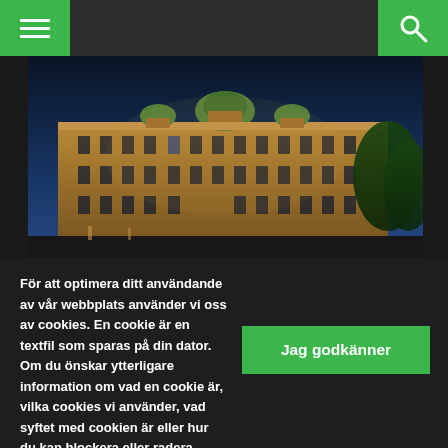[Navigation bar with hamburger menu and search icon]
[Figure (photo): Night-time photograph of a grand neoclassical government building with illuminated golden facade against a deep blue sky, with green trees visible on the right side.]
För att optimera ditt användande av vår webbplats använder vi oss av cookies. En cookie är en textfil som sparas på din dator. Om du önskar ytterligare information om vad en cookie är, vilka cookies vi använder, vad syftet med cookien är eller hur du kan blockera eller radera cookies, vänligen läs Om cookies.